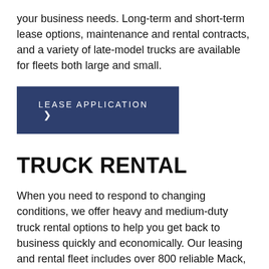your business needs. Long-term and short-term lease options, maintenance and rental contracts, and a variety of late-model trucks are available for fleets both large and small.
[Figure (other): Dark navy blue button labeled 'LEASE APPLICATION' with a right chevron arrow]
TRUCK RENTAL
When you need to respond to changing conditions, we offer heavy and medium-duty truck rental options to help you get back to business quickly and economically. Our leasing and rental fleet includes over 800 reliable Mack, Volvo, Hino and Isuzu trucks in a variety of sizes and specs, serviced and ready to work.